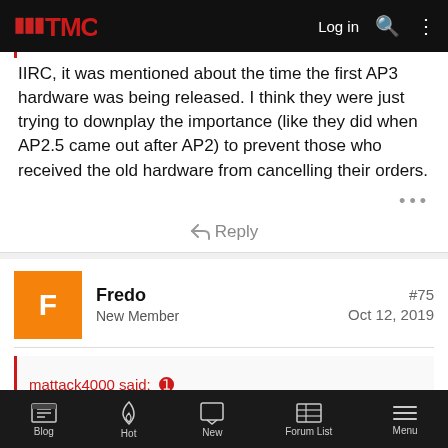TMC | Log in
IIRC, it was mentioned about the time the first AP3 hardware was being released. I think they were just trying to downplay the importance (like they did when AP2.5 came out after AP2) to prevent those who received the old hardware from cancelling their orders.
↩ Reply
Fredo
New Member
#75
Oct 12, 2019
mattack4000 said: ⊕
Blog | Hot | New | Forum List | Menu